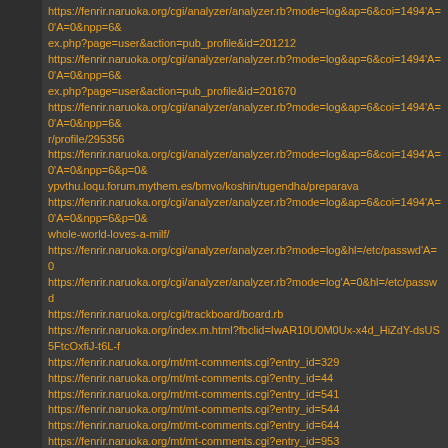https://fenrir.naruoka.org/cgi/analyzer/analyzer.rb?mode=log&ap=6&coi=1494'A=0'A=0&npp=6&ex.php?page=user&action=pub_profile&id=201212
https://fenrir.naruoka.org/cgi/analyzer/analyzer.rb?mode=log&ap=6&coi=1494'A=0'A=0&npp=6&ex.php?page=user&action=pub_profile&id=201670
https://fenrir.naruoka.org/cgi/analyzer/analyzer.rb?mode=log&ap=6&coi=1494'A=0'A=0&npp=6&r/profile/295356
https://fenrir.naruoka.org/cgi/analyzer/analyzer.rb?mode=log&ap=6&coi=1494'A=0'A=0&npp=6&p=0&ypvthu.loqu.forum.mythem.es/bmvo/koshin/tugendha/preparava
https://fenrir.naruoka.org/cgi/analyzer/analyzer.rb?mode=log&ap=6&coi=1494'A=0'A=0&npp=6&p=0&whole-world-loves-a-milf/
https://fenrir.naruoka.org/cgi/analyzer/analyzer.rb?mode=log&hl=/etc/passwd'A=0
https://fenrir.naruoka.org/cgi/analyzer/analyzer.rb?mode=log'A=0&hl=/etc/passwd
https://fenrir.naruoka.org/cgi/trackboard/board.rb
https://fenrir.naruoka.org/index.m.html?fbclid=IwAR10U0M0Ux-x4d_HiZdY-dsUS5FtcOxfiJ-t6L-f
https://fenrir.naruoka.org/mt/mt-comments.cgi?entry_id=329
https://fenrir.naruoka.org/mt/mt-comments.cgi?entry_id=44
https://fenrir.naruoka.org/mt/mt-comments.cgi?entry_id=541
https://fenrir.naruoka.org/mt/mt-comments.cgi?entry_id=544
https://fenrir.naruoka.org/mt/mt-comments.cgi?entry_id=644
https://fenrir.naruoka.org/mt/mt-comments.cgi?entry_id=953
https://fenrir.naruoka.org/profile.html
Browser
Turnitin (https://bit.ly/2UvnfoQ)
Mozilla/5.0 (compatible; DotBot/1.2; +https://opensiteexplorer.org/dotbot; help@moz.com)
Mozilla/5.0 (compatible; AhrefsBot/7.0; +http://ahrefs.com/robot/)
Mozilla/5.0 (Linux; Android 6.0.1; Nexus 5X Build/MMB29P) AppleWebKit/537.36 (KHTML, like Googlebot/2.1; +http://www.google.com/bot.html)
Mozilla/5.0 (compatible; bingbot/2.0; +http://www.bing.com/bingbot.htm)
Mozilla/5.0 (Windows NT 10.0; Win64; x64) AppleWebKit/537.36 (KHTML, like Gecko) Chrome/
Mozilla/5.0 (compatible; Barkrowler/0.9; +https://babbar.tech/crawler)
Mozilla/5.0 (Macintosh; Intel Mac OS X 10_15_5) AppleWebKit/605.1.15 (KHTML, like Gecko) om/go/applebot)
Mozilla/5.0 (compatible; SemrushBot/7~bl; +http://www.semrush.com/bot.html)
Mozilla/5.0 (iPhone; CPU iPhone OS 15_6 like Mac OS X) AppleWebKit/605.1.15 (KHTML, like
Mozilla/5.0 (Windows NT 10.0; Win64; x64; rv:103.0) Gecko/20100101 Firefox/103.0
Mozilla/5.0 (compatible; MJ12bot/v1.4.8; http://mj12bot.com/)
Mozilla/5.0 (compatible; Googlebot/2.1; +http://www.google.com/bot.html)
Mozilla/5.0 (compatible; MSIE 9.0; Windows NT 6.1; Trident/5.0; Trident/5.0)
Mozilla/5.0 (compatible; MSIE 9.0; Windows NT 6.0; Trident/5.0; Trident/5.0)
Mozilla/4.0 (compatible; MSIE 6.0; Windows NT 5.1; SV1)